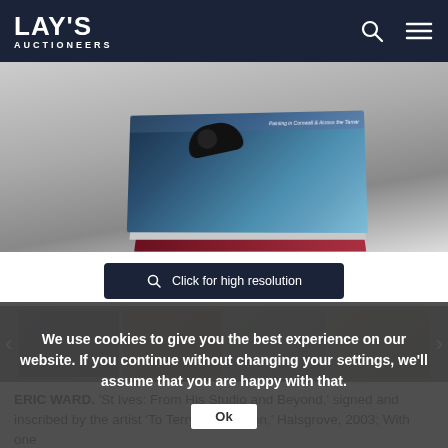LAY'S AUCTIONEERS
[Figure (photo): Photo of stacked art books, including one titled 'Painting in Cornwall & Across the Tamar', partially visible on a light background]
Click for high resolution
[Figure (photo): Thumbnail gallery row showing multiple small preview images of the auction lot, with left and right navigation arrows]
We use cookies to give you the best experience on our website. If you continue without changing your settings, we'll assume that you are happy with that.
Ok
ERIC WARD. 'St Ives: From His Studio and Beyond,' signed and inscribed by the artist 'To Terry and Marion,' Halsgrove, 2003; With one